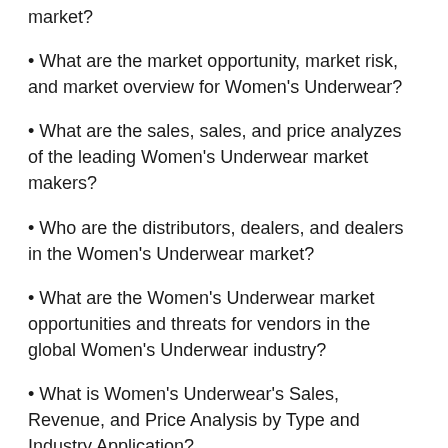market?
• What are the market opportunity, market risk, and market overview for Women's Underwear?
• What are the sales, sales, and price analyzes of the leading Women's Underwear market makers?
• Who are the distributors, dealers, and dealers in the Women's Underwear market?
• What are the Women's Underwear market opportunities and threats for vendors in the global Women's Underwear industry?
• What is Women's Underwear's Sales, Revenue, and Price Analysis by Type and Industry Application?
• What are the sales, sales, and price analyses by industry region Women's Underwear?